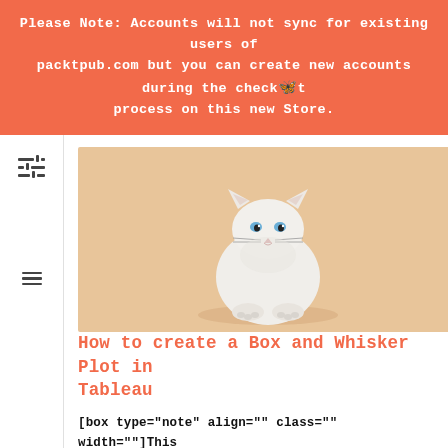Please Note: Accounts will not sync for existing users of packtpub.com but you can create new accounts during the checkout process on this new Store.
[Figure (photo): A white fluffy kitten with blue eyes sitting against a warm beige/peach background.]
How to create a Box and Whisker Plot in Tableau
[box type="note" align="" class="" width=""]This article is an excerpt from a book written by Shweta